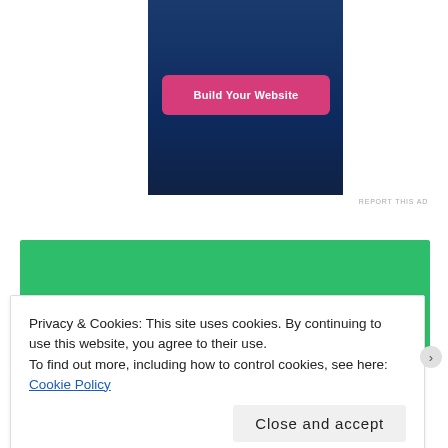[Figure (screenshot): Advertisement banner with dark blue gradient background and a pink 'Build Your Website' button]
REPORT THIS AD
[Figure (screenshot): Green colored content block]
Privacy & Cookies: This site uses cookies. By continuing to use this website, you agree to their use.
To find out more, including how to control cookies, see here: Cookie Policy
Close and accept